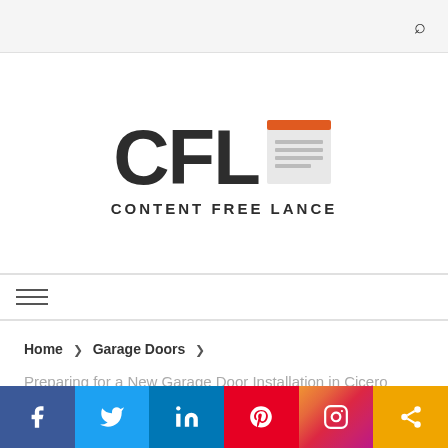[Figure (logo): CFL Content Free Lance logo with document icon]
Home > Garage Doors >
Preparing for a New Garage Door Installation in Cicero